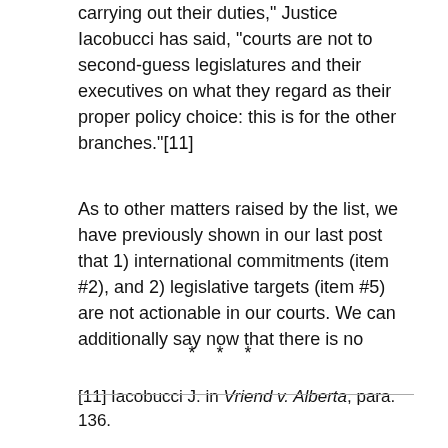carrying out their duties," Justice Iacobucci has said, "courts are not to second-guess legislatures and their executives on what they regard as their proper policy choice: this is for the other branches."[11]
As to other matters raised by the list, we have previously shown in our last post that 1) international commitments (item #2), and 2) legislative targets (item #5) are not actionable in our courts. We can additionally say now that there is no
* * *
[11] Iacobucci J. in Vriend v. Alberta, para. 136.